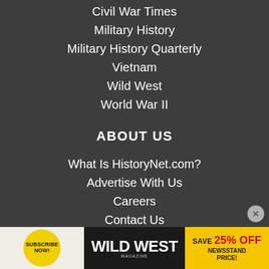Civil War Times
Military History
Military History Quarterly
Vietnam
Wild West
World War II
ABOUT US
What Is HistoryNet.com?
Advertise With Us
Careers
Contact Us
Meet Our Staff!
[Figure (infographic): Advertisement banner for Wild West Magazine with subscribe now circle badge, Wild West Magazine logo, and Save 25% Off Newsstand Price offer]